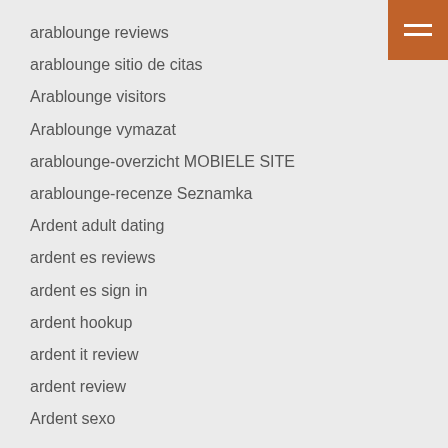arablounge reviews
arablounge sitio de citas
Arablounge visitors
Arablounge vymazat
arablounge-overzicht MOBIELE SITE
arablounge-recenze Seznamka
Ardent adult dating
ardent es reviews
ardent es sign in
ardent hookup
ardent it review
ardent review
Ardent sexo